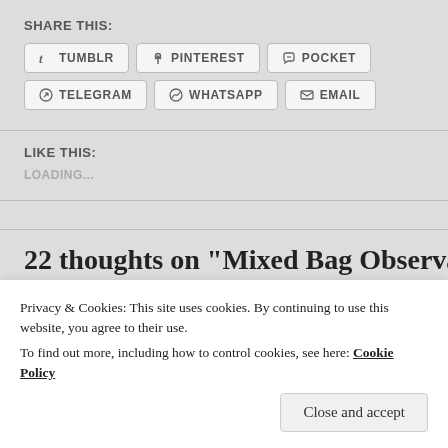SHARE THIS:
TUMBLR
PINTEREST
POCKET
TELEGRAM
WHATSAPP
EMAIL
LIKE THIS:
LOADING...
22 thoughts on “Mixed Bag Observations
Privacy & Cookies: This site uses cookies. By continuing to use this website, you agree to their use.
To find out more, including how to control cookies, see here: Cookie Policy
Close and accept
06/19/2016 AT 5:56 PM